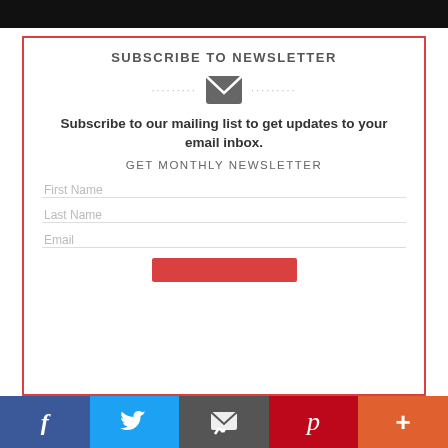[Figure (screenshot): Black header bar at top of page]
SUBSCRIBE TO NEWSLETTER
[Figure (illustration): Email envelope icon with dotted lines on either side]
Subscribe to our mailing list to get updates to your email inbox.
GET MONTHLY NEWSLETTER
First Name
Last Name
Email
[Figure (screenshot): Social sharing bar with Facebook, Twitter, Email, Pinterest, and More (+) buttons]